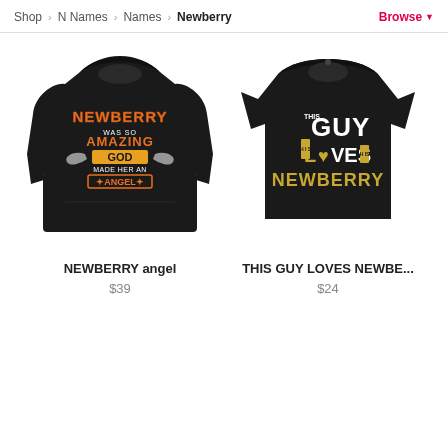Shop > N Names > Names > Newberry   Browse
[Figure (photo): Black hoodie with text: NEWBERRY WAS SO AMAZING GOD MADE HER AN ANGEL, with orange and gold lettering and angel wings graphic]
NEWBERRY angel
$39
[Figure (photo): Black t-shirt with text: THIS GUY LOVES NEWBERRY in gold and white lettering]
THIS GUY LOVES NEWBE...
$24